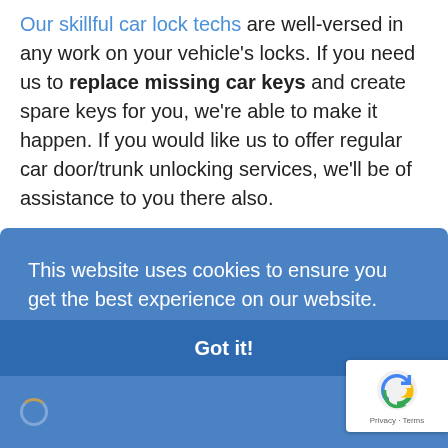Our skillful car lock techs are well-versed in any work on your vehicle's locks. If you need us to replace missing car keys and create spare keys for you, we're able to make it happen. If you would like us to offer regular car door/trunk unlocking services, we'll be of assistance to you there also.

When you're struggling to select a car key
This website uses cookies to ensure you get the best experience on our website. Learn more
Got it!